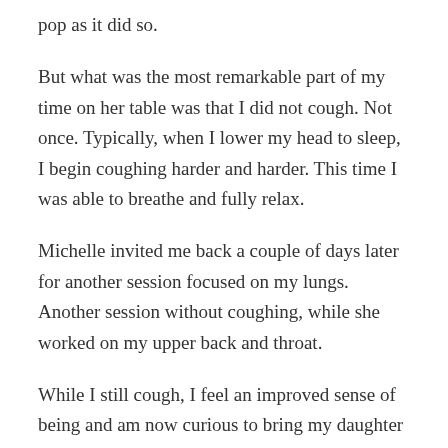pop as it did so.
But what was the most remarkable part of my time on her table was that I did not cough. Not once. Typically, when I lower my head to sleep, I begin coughing harder and harder. This time I was able to breathe and fully relax.
Michelle invited me back a couple of days later for another session focused on my lungs. Another session without coughing, while she worked on my upper back and throat.
While I still cough, I feel an improved sense of being and am now curious to bring my daughter to her, as she struggles with reactive airway disease.